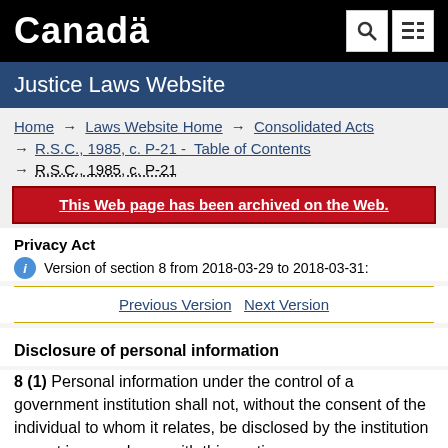Canada — Justice Laws Website
Home → Laws Website Home → Consolidated Acts → R.S.C., 1985, c. P-21 - Table of Contents → R.S.C., 1985, c. P-21
This Web page has been archived on the Web.
Privacy Act
Version of section 8 from 2018-03-29 to 2018-03-31:
Previous Version   Next Version
Disclosure of personal information
8 (1) Personal information under the control of a government institution shall not, without the consent of the individual to whom it relates, be disclosed by the institution except in accordance with this section